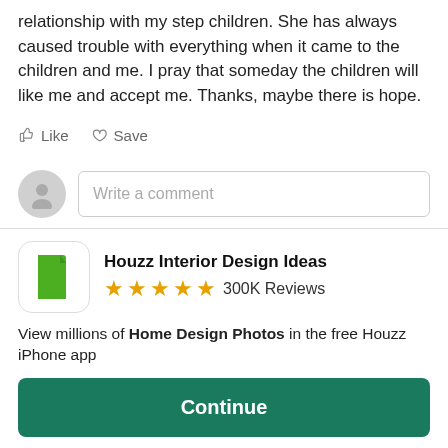relationship with my step children. She has always caused trouble with everything when it came to the children and me. I pray that someday the children will like me and accept me. Thanks, maybe there is hope.
Like  Save
Write a comment
Houzz Interior Design Ideas ★★★★★ 300K Reviews
View millions of Home Design Photos in the free Houzz iPhone app
Continue
Go to Mobile Site